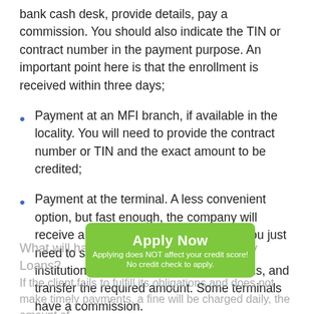bank cash desk, provide details, pay a commission. You should also indicate the TIN or contract number in the payment purpose. An important point here is that the enrollment is received within three days;
Payment at an MFI branch, if available in the locality. You will need to provide the contract number or TIN and the exact amount to be credited;
Payment at the terminal. A less convenient option, but fast enough, the company will receive a payment within a few hours. You just need to select the necessary financial institution on the monitor, enter the details, and transfer the required amount. Some terminals have a commission.
What will happen if you do not pay Payday Loans?
If the client fails to fulfill its obligations and does not make timely payments, a fine will be charged daily, the amount of